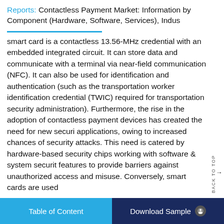Reports: Contactless Payment Market: Information by Component (Hardware, Software, Services), Indus
smart card is a contactless 13.56-MHz credential with an embedded integrated circuit. It can store data and communicate with a terminal via near-field communication (NFC). It can also be used for identification and authentication (such as the transportation worker identification credential (TWIC) required for transportation security administration). Furthermore, the rise in the adoption of contactless payment devices has created the need for new securi applications, owing to increased chances of security attacks. This need is catered by hardware-based security chips working with software & system securit features to provide barriers against unauthorized access and misuse. Conversely, smart cards are used
Table of Content | Download Sample